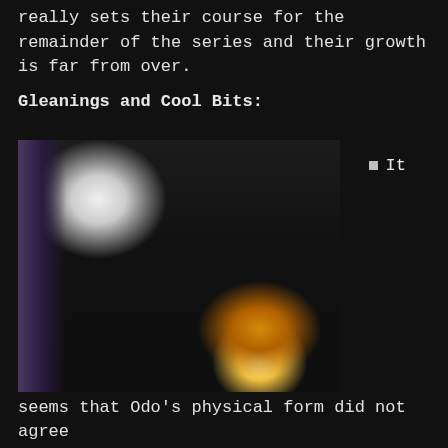really sets their course for the remainder of the series and their growth is far from over.
Gleanings and Cool Bits:
[Figure (photo): A person in a dark Starfleet uniform leaning over a table examining a glowing amber liquid in a small illuminated container, in a dimly lit sci-fi interior.]
It
seems that Odo's physical form did not agree